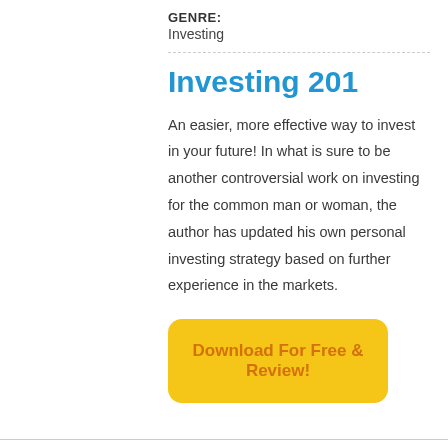GENRE:
Investing
Investing 201
An easier, more effective way to invest in your future! In what is sure to be another controversial work on investing for the common man or woman, the author has updated his own personal investing strategy based on further experience in the markets.
Download For Free & Review!